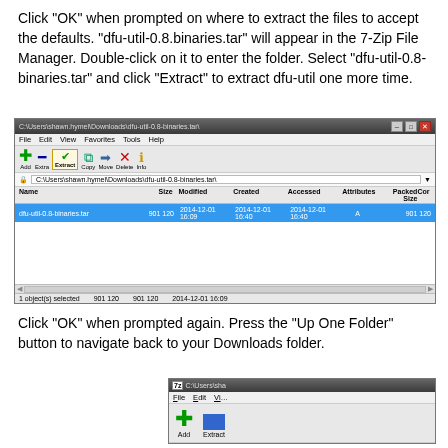Click "OK" when prompted on where to extract the files to accept the defaults. "dfu-util-0.8.binaries.tar" will appear in the 7-Zip File Manager. Double-click on it to enter the folder. Select "dfu-util-0.8-binaries.tar" and click "Extract" to extract dfu-util one more time.
[Figure (screenshot): 7-Zip File Manager window showing C:\Users\shawn.hymel\Downloads\dfu-util-0.8-binaries.tar\ with one file selected: dfu-util-0.8-binaries.tar, size 901 120, modified 2014-12-01 16:09, created 2014-12-01 16:40, accessed 2014-12-01 16:40, attributes A, packed size 901 120. Status bar shows: 1 object(s) selected, 901 120, 901 120, 2014-12-01 16:09.]
Click "OK" when prompted again. Press the "Up One Folder" button to navigate back to your Downloads folder.
[Figure (screenshot): 7-Zip File Manager window (partial) showing C:\Users\sha... with File, Edit, Vi... menu and Add/Extract toolbar buttons.]